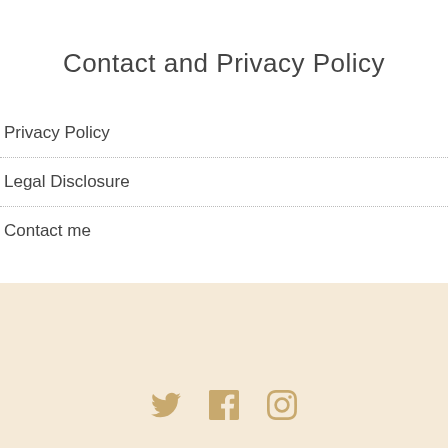Contact and Privacy Policy
Privacy Policy
Legal Disclosure
Contact me
[Figure (illustration): Social media icons: Twitter bird, Facebook f, Instagram camera, rendered in golden/tan color on a light beige background footer]